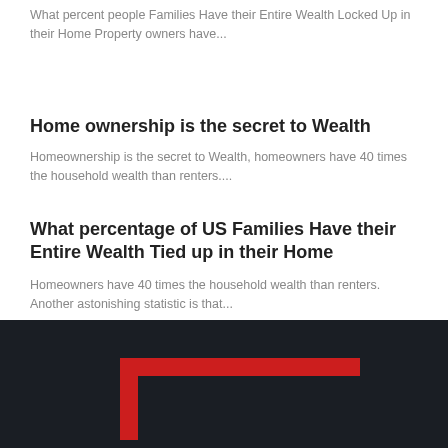What percent people Families Have their Entire Wealth Locked Up in their Home Property owners have...
Home ownership is the secret to Wealth
Homeownership is the secret to Wealth, homeowners have 40 times the household wealth than renters....
What percentage of US Families Have their Entire Wealth Tied up in their Home
Homeowners have 40 times the household wealth than renters. Another astonishing statistic is that...
[Figure (logo): Red bracket/frame logo on dark background]